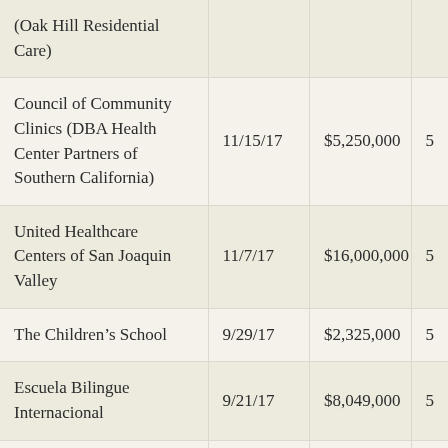| Organization | Date | Amount |  |
| --- | --- | --- | --- |
| (Oak Hill Residential Care) |  |  |  |
| Council of Community Clinics (DBA Health Center Partners of Southern California) | 11/15/17 | $5,250,000 | 5 |
| United Healthcare Centers of San Joaquin Valley | 11/7/17 | $16,000,000 | 5 |
| The Children's School | 9/29/17 | $2,325,000 | 5 |
| Escuela Bilingue Internacional | 9/21/17 | $8,049,000 | 5 |
| San Diego Habitat for Humanity | 8/31/17 | $5,500,000 | 5 |
| Child Care Resources, | 8/30/17 | $7,000,000 | 5 |